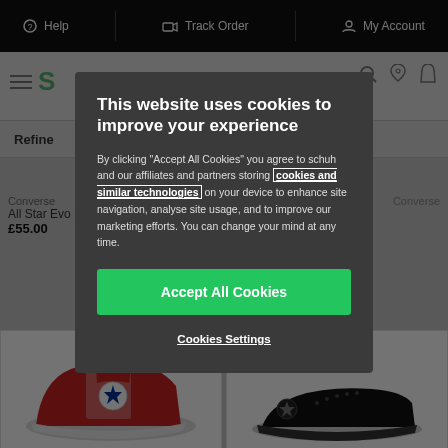Help | Track Order | My Account
Refine
Converse
All Star Evo Ltt Hi
£55.00
[Figure (photo): Red Converse high-top sneaker on white background]
[Figure (photo): Black Converse low-top sneaker on white background]
This website uses cookies to improve your experience
By clicking "Accept All Cookies" you agree to schuh and our affiliates and partners storing cookies and similar technologies on your device to enhance site navigation, analyse site usage, and to improve our marketing efforts. You can change your mind at any time.
Accept All Cookies
Cookies Settings